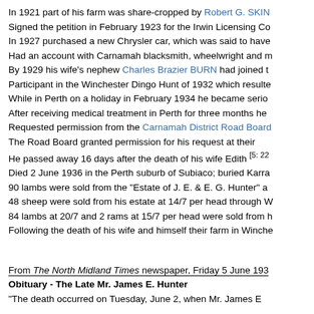In 1921 part of his farm was share-cropped by Robert G. SKIN... Signed the petition in February 1923 for the Irwin Licensing Co... In 1927 purchased a new Chrysler car, which was said to have... Had an account with Carnamah blacksmith, wheelwright and m... By 1929 his wife's nephew Charles Brazier BURN had joined t... Participant in the Winchester Dingo Hunt of 1932 which resulte... While in Perth on a holiday in February 1934 he became serio... After receiving medical treatment in Perth for three months he... Requested permission from the Carnamah District Road Boar... The Road Board granted permission for his request at their... He passed away 16 days after the death of his wife Edith [5: 22... Died 2 June 1936 in the Perth suburb of Subiaco; buried Karra... 90 lambs were sold from the "Estate of J. E. & E. G. Hunter" a... 48 sheep were sold from his estate at 14/7 per head through W... 84 lambs at 20/7 and 2 rams at 15/7 per head were sold from... Following the death of his wife and himself their farm in Winche...
From The North Midland Times newspaper, Friday 5 June 193...
Obituary - The Late Mr. James E. Hunter
"The death occurred on Tuesday, June 2, when Mr. James E...